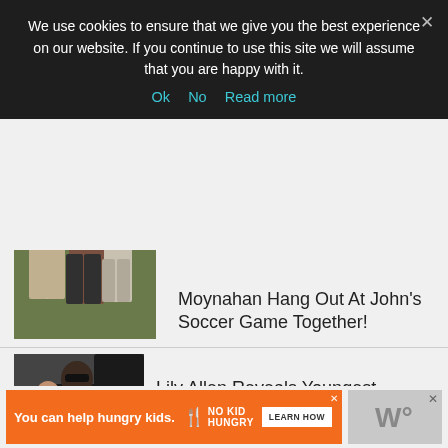We use cookies to ensure that we give you the best experience on our website. If you continue to use this site we will assume that you are happy with it.
Ok   No   Read more
Moynahan Hang Out At John's Soccer Game Together!
[Figure (photo): Two women standing on a grass field, one in a checkered shirt, one in light pants]
Lily Allen Reveals Youngest Daughter's Fight With Life-Threatening Illness
[Figure (photo): Woman in dark jacket carrying a child and a silver bag, with another person in front]
[Figure (infographic): Ad banner: You can help hungry kids. No Kid Hungry. Learn How.]